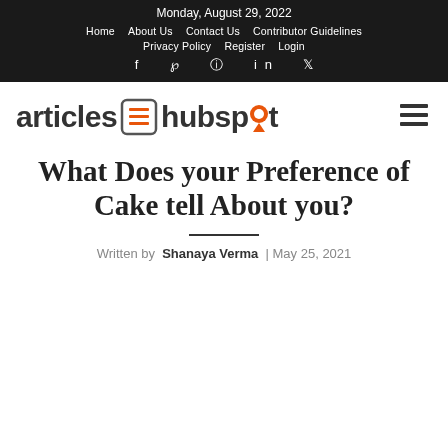Monday, August 29, 2022 | Home | About Us | Contact Us | Contributor Guidelines | Privacy Policy | Register | Login
[Figure (logo): Articles Hubspot logo with icon and hamburger menu]
What Does your Preference of Cake tell About you?
Written by Shanaya Verma | May 25, 2021